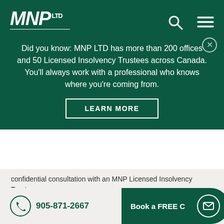MNP LTD — Toll Free 310-DEBT
Did you know: MNP LTD has more than 200 offices and 50 Licensed Insolvency Trustees across Canada. You'll always work with a professional who knows where you're coming from.
LEARN MORE
confidential consultation with an MNP Licensed Insolvency Trustee.
First Name
905-871-2667   Book a FREE C